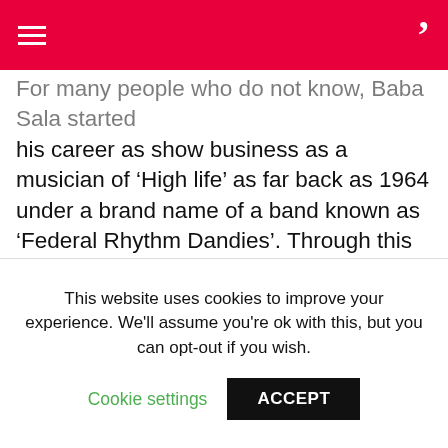For many people who do not know, Baba Sala started his career as show business as a musician of ‘High life’ as far back as 1964 under a brand name of a band known as ‘Federal Rhythm Dandies’. Through this band, he tutored and guided the master and the King of Juju music(ians) – Prince Sunday Adeniyi Adeyemi popularly known as King Sunny Ade (KSA) who played the role of ‘Lead Guitar’ in Baba Sala’s music band. Baba Sala is married and gave birth to children. He is also a grand father. Among his children are Emmanuel Adejumo, Adadamola Adejumo... the
This website uses cookies to improve your experience. We'll assume you're ok with this, but you can opt-out if you wish.
Cookie settings    ACCEPT